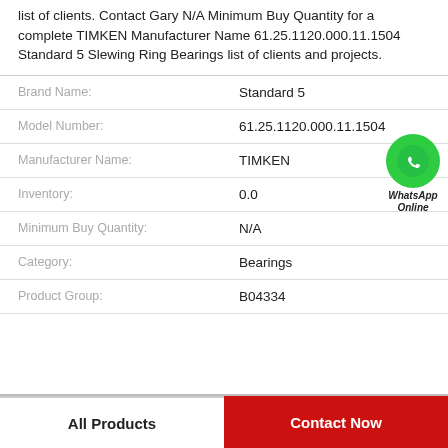list of clients. Contact Gary N/A Minimum Buy Quantity for a complete TIMKEN Manufacturer Name 61.25.1120.000.11.1504 Standard 5 Slewing Ring Bearings list of clients and projects.
| Field | Value |
| --- | --- |
| Brand Name: | Standard 5 |
| Model Number: | 61.25.1120.000.11.1504 |
| Manufacturer Name: | TIMKEN |
| Inventory: | 0.0 |
| Minimum Buy Quantity: | N/A |
| Category: | Bearings |
| Product Group: | B04334 |
[Figure (illustration): WhatsApp Online contact icon — green circle with phone handset, text 'WhatsApp Online' below]
All Products
Contact Now